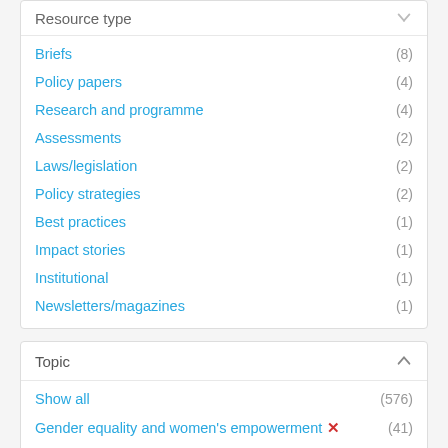Resource type
Briefs (8)
Policy papers (4)
Research and programme (4)
Assessments (2)
Laws/legislation (2)
Policy strategies (2)
Best practices (1)
Impact stories (1)
Institutional (1)
Newsletters/magazines (1)
Topic
Show all (576)
Gender equality and women's empowerment ✕ (41)
Access to justice post-conflict ✕ (1)
Peace and security (63)